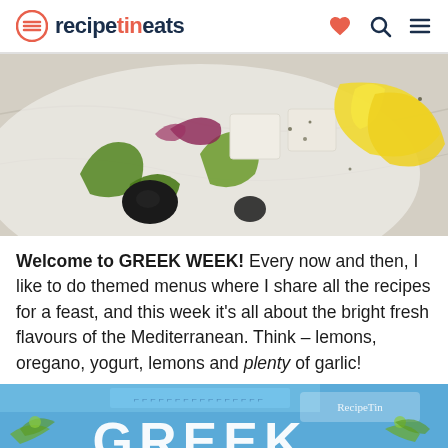recipetineats
[Figure (photo): Close-up of a Greek salad on a white plate with feta cheese cubes, black olives, green peppers, red onion, and lemon wedges on a marble surface.]
Welcome to GREEK WEEK! Every now and then, I like to do themed menus where I share all the recipes for a feast, and this week it's all about the bright fresh flavours of the Mediterranean. Think – lemons, oregano, yogurt, lemons and plenty of garlic!
[Figure (photo): Bottom portion of a Greek Week banner image with decorative olive branch elements and large text reading GREEK in white on a blue background, with RecipeTin watermark.]